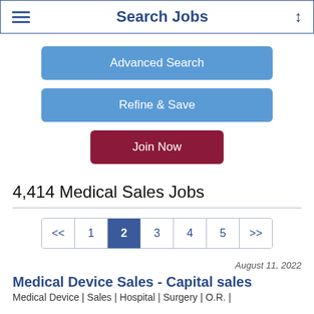Search Jobs
Advanced Search
Refine & Save
Join Now
4,414 Medical Sales Jobs
<< 1 2 3 4 5 >>
August 11, 2022
Medical Device Sales - Capital sales
Medical Device | Sales | Hospital | Surgery | O.R. |